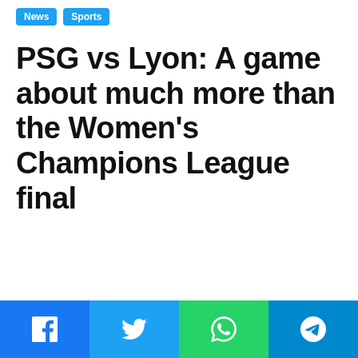News | Sports
PSG vs Lyon: A game about much more than the Women's Champions League final
Share buttons: Facebook, Twitter, WhatsApp, Telegram